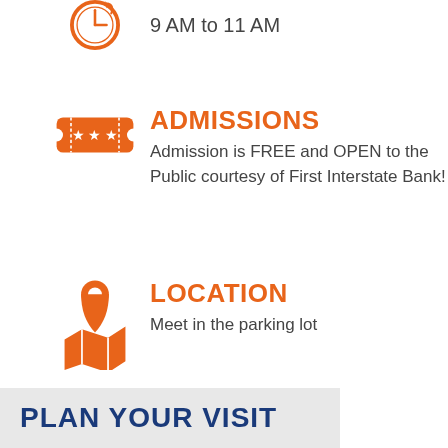[Figure (illustration): Orange clock icon (partial, cropped at top)]
9 AM to 11 AM
[Figure (illustration): Orange ticket icon with three stars]
ADMISSIONS
Admission is FREE and OPEN to the Public courtesy of First Interstate Bank!
[Figure (illustration): Orange location pin / map icon]
LOCATION
Meet in the parking lot
PLAN YOUR VISIT